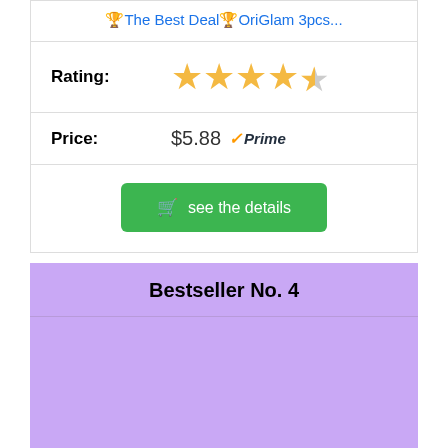🏆The Best Deal🏆OriGlam 3pcs...
| Rating: | ★★★★☆ (4.5 stars) |
| Price: | $5.88 ✓Prime |
🛒 see the details
Bestseller No. 4
[Figure (other): Product image area with purple background for Bestseller No. 4]